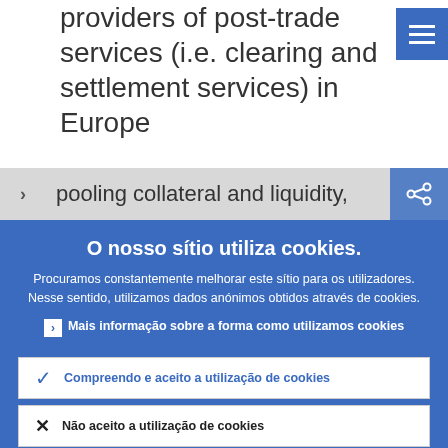providers of post-trade services (i.e. clearing and settlement services) in Europe
> pooling collateral and liquidity,
O nosso sítio utiliza cookies.
Procuramos constantemente melhorar este sítio para os utilizadores. Nesse sentido, utilizamos dados anónimos obtidos através de cookies.
Mais informação sobre a forma como utilizamos cookies
Compreendo e aceito a utilização de cookies
Não aceito a utilização de cookies